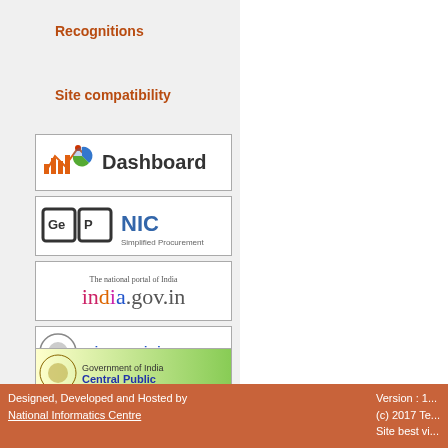Recognitions
Site compatibility
[Figure (logo): Dashboard logo with chart icons]
[Figure (logo): GeP NIC Simplified Procurement logo]
[Figure (logo): india.gov.in - The national portal of India]
[Figure (logo): mizoram.nic.in - Government of Mizoram]
[Figure (logo): Government of India Central Public Procurement Portal]
Contents owned and maintained by concerned Departments in coordina...
Designed, Developed and Hosted by National Informatics Centre    Version : 1...  (c) 2017 Te...  Site best vi...